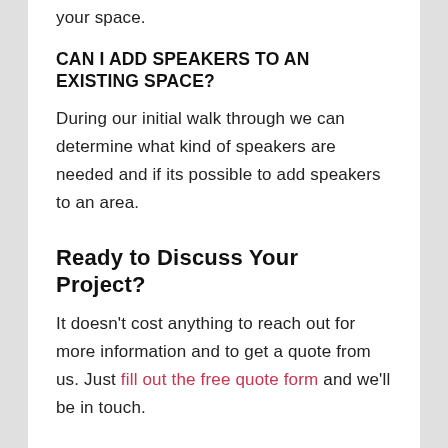your space.
CAN I ADD SPEAKERS TO AN EXISTING SPACE?
During our initial walk through we can determine what kind of speakers are needed and if its possible to add speakers to an area.
Ready to Discuss Your Project?
It doesn't cost anything to reach out for more information and to get a quote from us. Just fill out the free quote form and we'll be in touch.